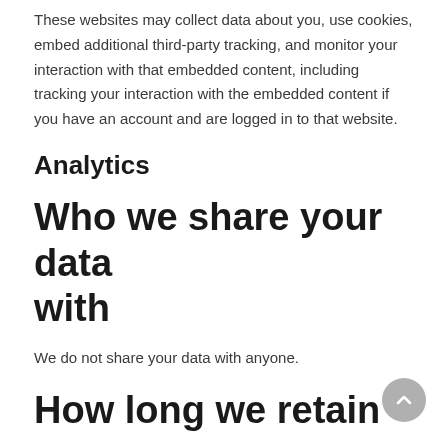These websites may collect data about you, use cookies, embed additional third-party tracking, and monitor your interaction with that embedded content, including tracking your interaction with the embedded content if you have an account and are logged in to that website.
Analytics
Who we share your data with
We do not share your data with anyone.
How long we retain your